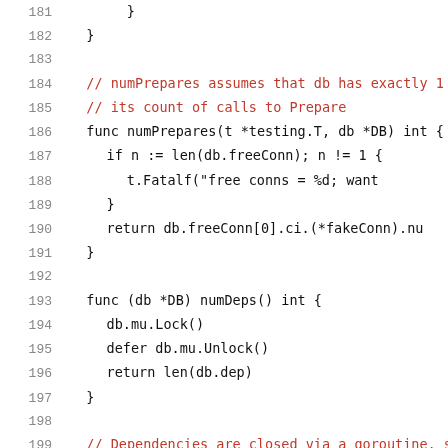181     }
182 }
183
184 // numPrepares assumes that db has exactly 1 id
185 // its count of calls to Prepare
186 func numPrepares(t *testing.T, db *DB) int {
187         if n := len(db.freeConn); n != 1 {
188                 t.Fatalf("free conns = %d; want
189         }
190         return db.freeConn[0].ci.(*fakeConn).nu
191 }
192
193 func (db *DB) numDeps() int {
194         db.mu.Lock()
195         defer db.mu.Unlock()
196         return len(db.dep)
197 }
198
199 // Dependencies are closed via a goroutine, so
200 // numDeps to fall to want, waiting up to d.
201 func (db *DB) numDepsPollUntil(want int, d time